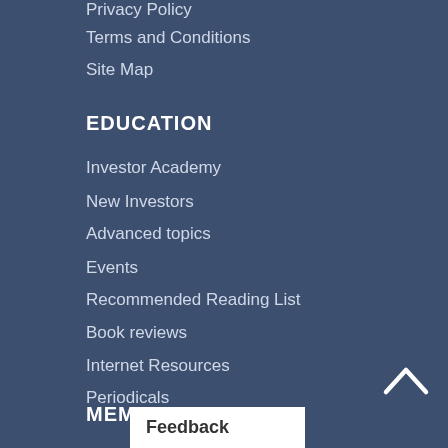Privacy Policy
Terms and Conditions
Site Map
EDUCATION
Investor Academy
New Investors
Advanced topics
Events
Recommended Reading List
Book reviews
Internet Resources
Periodicals
Courses and Tutorials for Investors
MEMBERSHIP
Feedback